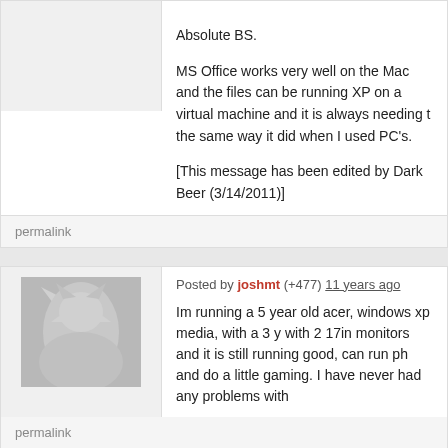Absolute BS.

MS Office works very well on the Mac and the files can be running XP on a virtual machine and it is always needing to the same way it did when I used PC's.

[This message has been edited by Dark Beer (3/14/2011)]
permalink
Posted by joshmt (+477) 11 years ago
Im running a 5 year old acer, windows xp media, with a 3 y with 2 17in monitors and it is still running good, can run ph and do a little gaming. I have never had any problems with
permalink
Posted by Josh Rath (+2302) 11 years ago